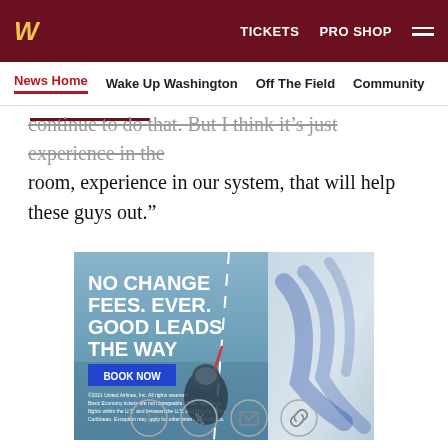W | TICKETS  PRO SHOP
News Home  Wake Up Washington  Off The Field  Community
continue to do that. But I think it's just experience in the room, experience in our system, that will help these guys out."
[Figure (infographic): United Airlines advertisement: NO CHANGE FEES. EVER. GOOD LEADS THE WAY. BOOK NOW button. Shows snorkeler in water on left side and airplane tail with United logo on right.]
[Figure (other): Social sharing icons: Facebook, Twitter, Email, Link]